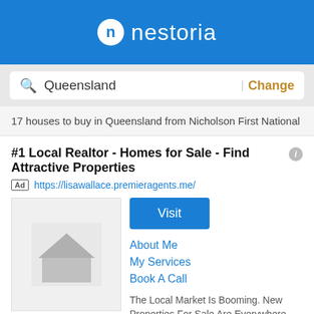[Figure (logo): Nestoria logo: white circle with blue n, white text 'nestoria' on blue background]
Queensland | Change
17 houses to buy in Queensland from Nicholson First National
#1 Local Realtor - Homes for Sale - Find Attractive Properties
Ad https://lisawallace.premieragents.me/
[Figure (illustration): House silhouette placeholder image]
Visit
About Me
My Services
Book A Call
The Local Market Is Booming. New Properties For Sale Are Everywhere. Call Now Below if...
Call +61 7 5578 2346
Ad M1 Realty
[Figure (illustration): House silhouette placeholder image]
Real Estate Agency Sales and Rental
[Figure (screenshot): Filter button overlay in gold/yellow color with filter icon and text 'Filter', with 'Call +61 75578 2346' text partially visible behind]